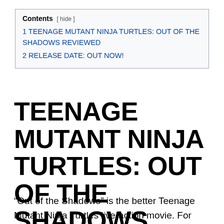| Contents  [ hide ] |
| 1 TEENAGE MUTANT NINJA TURTLES: OUT OF THE SHADOWS REVIEWED |
| 2 RELEASE DATE: OUT NOW! |
TEENAGE MUTANT NINJA TURTLES: OUT OF THE SHADOWS REVIEWED
“Out of the Shadows” is the better Teenage Mutant Ninja Turtles live-action movie. For those that hated the last ...